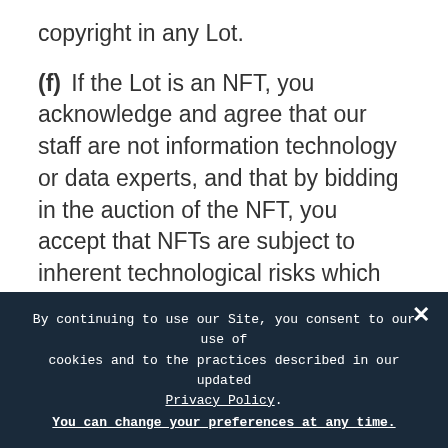copyright in any Lot.
(f)  If the Lot is an NFT, you acknowledge and agree that our staff are not information technology or data experts, and that by bidding in the auction of the NFT, you accept that NFTs are subject to inherent technological risks which may affect their performance now or in the future. You further acknowledge and agree that the characterisation and regulatory scheme governing NFTs, cryptocurrencies, and blockchain technology is uncertain and undetermined, that your purchase and receipt of the NFT complies with applicable laws and regulations in your jurisdiction, and that ne[...] ely af[...]
(g) [...] e th[...]
By continuing to use our Site, you consent to our use of cookies and to the practices described in our updated Privacy Policy. You can change your preferences at any time.